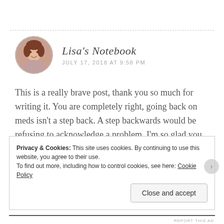[Figure (photo): Circular avatar photo of a woman with brown hair, bordered by a dashed circle]
Lisa's Notebook
JULY 17, 2018 AT 9:58 PM
This is a really brave post, thank you so much for writing it. You are completely right, going back on meds isn't a step back. A step backwards would be refusing to acknowledge a problem. I'm so glad you got the support you needed and I hope you continue to improve. X
Privacy & Cookies: This site uses cookies. By continuing to use this website, you agree to their use.
To find out more, including how to control cookies, see here: Cookie Policy
Close and accept